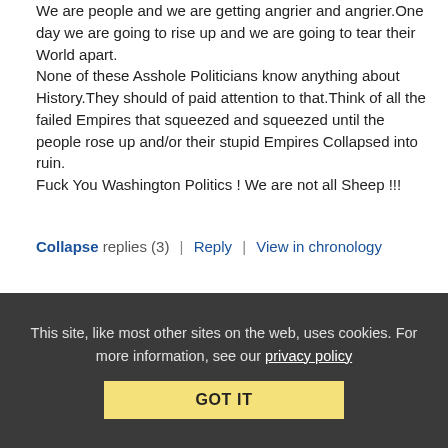We are people and we are getting angrier and angrier.One day we are going to rise up and we are going to tear their World apart.
None of these Asshole Politicians know anything about History.They should of paid attention to that.Think of all the failed Empires that squeezed and squeezed until the people rose up and/or their stupid Empires Collapsed into ruin.
Fuck You Washington Politics ! We are not all Sheep !!!
Collapse replies (3) | Reply | View in chronology
[Figure (infographic): Row of 5 social interaction icons: lightbulb, laughing emoji, open-quote speech bubble, close-quote speech bubble, flag]
[Figure (infographic): Replies section box with stacked chat icon and [3] count in blue]
This site, like most other sites on the web, uses cookies. For more information, see our privacy policy
GOT IT